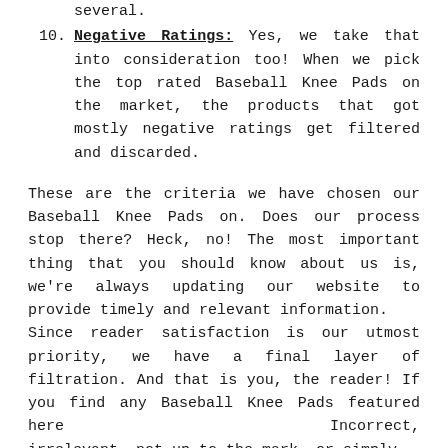several.
10. Negative Ratings: Yes, we take that into consideration too! When we pick the top rated Baseball Knee Pads on the market, the products that got mostly negative ratings get filtered and discarded.
These are the criteria we have chosen our Baseball Knee Pads on. Does our process stop there? Heck, no! The most important thing that you should know about us is, we're always updating our website to provide timely and relevant information.
Since reader satisfaction is our utmost priority, we have a final layer of filtration. And that is you, the reader! If you find any Baseball Knee Pads featured here Incorrect, irrelevant, not up to the mark, or simply